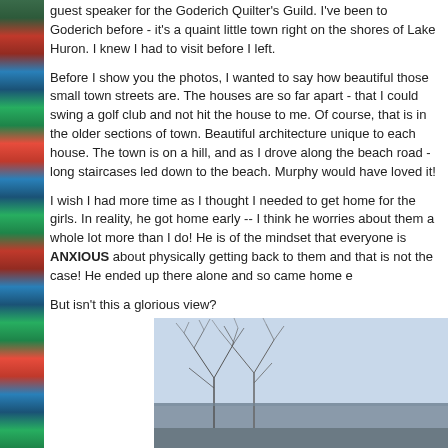guest speaker for the Goderich Quilter's Guild. I've been to Goderich before - it's a quaint little town right on the shores of Lake Huron. I knew I had to visit before I left.
Before I show you the photos, I wanted to say how beautiful those small town streets are. The houses are so far apart - that I could swing a golf club and not hit the house to me. Of course, that is in the older sections of town. Beautiful architecture unique to each house. The town is on a hill, and as I drove along the beach road - long staircases led down to the beach. Murphy would have loved it!
I wish I had more time as I thought I needed to get home for the girls. In reality, he got home early -- I think he worries about them a whole lot more than I do! He is of the mindset that everyone is ANXIOUS about physically getting back to them and that is not the case! He ended up there alone and so came home e
But isn't this a glorious view?
[Figure (photo): A scenic outdoor view showing bare winter trees against a light sky, with what appears to be a beach or lake view below.]